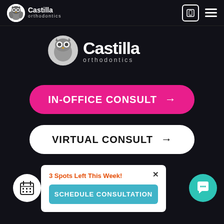[Figure (screenshot): Top navigation bar with Castilla Orthodontics logo (owl icon + text), mobile icon, and hamburger menu]
[Figure (logo): Large Castilla orthodontics logo centered on dark background]
[Figure (screenshot): Pink rounded button with text IN-OFFICE CONSULT and right arrow]
[Figure (screenshot): White rounded button with text VIRTUAL CONSULT and right arrow]
[Figure (screenshot): White popup card with orange text '3 Spots Left This Week!', X close button, and teal SCHEDULE CONSULTATION button]
Treatment Options
#SmileBoss
[Figure (screenshot): White circle calendar icon button at bottom left]
[Figure (screenshot): Teal circle chat bubble icon button at bottom right]